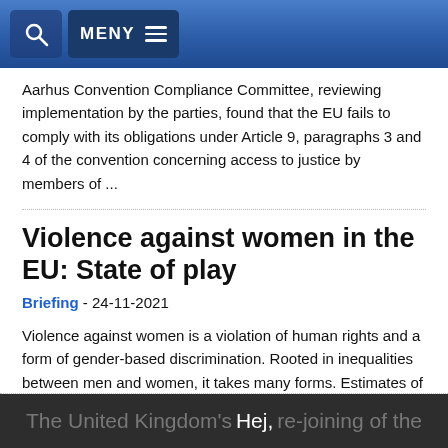MENY
Aarhus Convention Compliance Committee, reviewing implementation by the parties, found that the EU fails to comply with its obligations under Article 9, paragraphs 3 and 4 of the convention concerning access to justice by members of ...
Violence against women in the EU: State of play
Briefing - 24-11-2021
Violence against women is a violation of human rights and a form of gender-based discrimination. Rooted in inequalities between men and women, it takes many forms. Estimates of the scale of the problem are alarming. Such violence has a major impact on victims and imposes a significant cost burden on society. The instruments put in place by the United Nations and Council of Europe, including the latter's 'Istanbul Convention', to which the EU plans to accede, are benchmarks in efforts to combat violence ...
The United Kingdom's possible re-joining of the